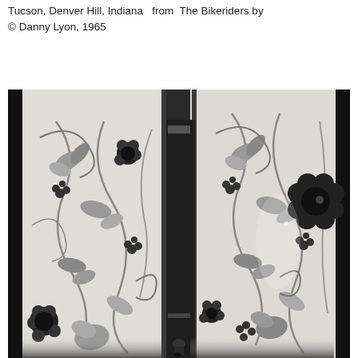Tucson, Denver Hill, Indiana   from  The Bikeriders by © Danny Lyon, 1965
[Figure (photo): Black and white photograph showing floral patterned curtains/wallpaper panels with ornate scrollwork, leaves, berries, and large flower motifs. The scene appears to be an interior space with curtains parted slightly in the center revealing a dark gap, and a small figure visible at the bottom.]